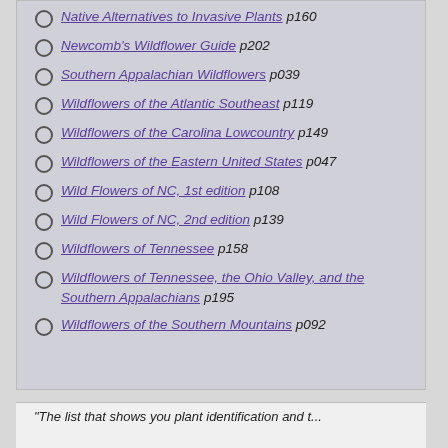Native Alternatives to Invasive Plants p160
Newcomb's Wildflower Guide p202
Southern Appalachian Wildflowers p039
Wildflowers of the Atlantic Southeast p119
Wildflowers of the Carolina Lowcountry p149
Wildflowers of the Eastern United States p047
Wild Flowers of NC, 1st edition p108
Wild Flowers of NC, 2nd edition p139
Wildflowers of Tennessee p158
Wildflowers of Tennessee, the Ohio Valley, and the Southern Appalachians p195
Wildflowers of the Southern Mountains p092
"The list that shows you plant identification and t...